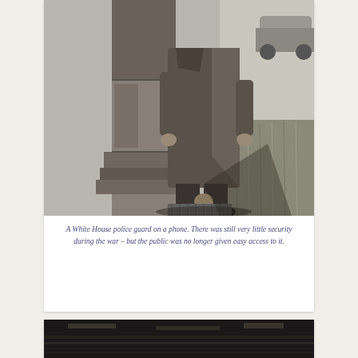[Figure (photo): Black and white photograph showing a White House police guard standing near a stone pillar and speaking on a phone. The guard wears a long dark raincoat and dark trousers with shiny black shoes. Grass and a vehicle are visible in the background.]
A White House police guard on a phone. There was still very little security during the war – but the public was no longer given easy access to it.
[Figure (photo): Black and white photograph, partially visible at the bottom of the page, showing a dark scene with what appears to be a surface with water or reflective elements.]